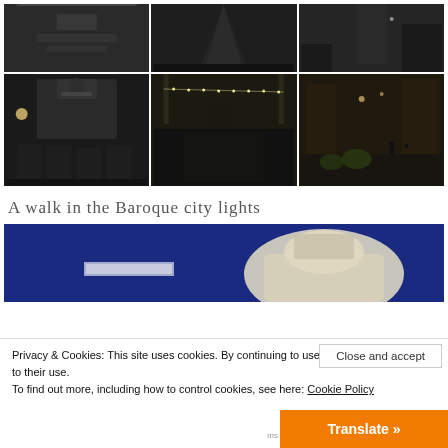[Figure (photo): Top row: three nighttime urban street photos in monochrome showing empty plazas and streets]
[Figure (photo): Bottom row: three nighttime photos of Italian baroque city scenes — a church facade with outdoor dining, a street with string lights and cafe tables, and a piazza with people and bicycles]
A walk in the Baroque city lights
[Figure (photo): Large nighttime photo showing baroque architectural sculpture against a deep blue sky]
Privacy & Cookies: This site uses cookies. By continuing to use this website, you agree to their use. To find out more, including how to control cookies, see here: Cookie Policy
Close and accept
Translate »